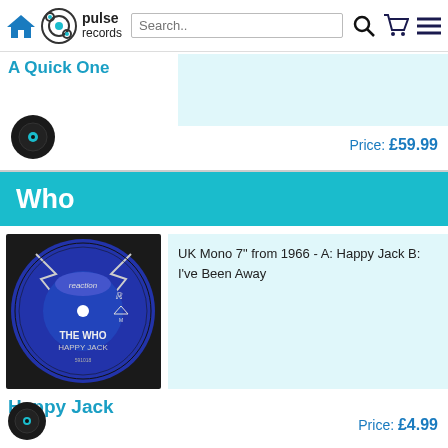Pulse Records navigation bar with home, logo, search, cart, and menu icons
A Quick One
Price: £59.99
Who
[Figure (photo): Blue vinyl 7-inch record label for The Who - Happy Jack on Reaction Records]
Happy Jack
UK Mono 7" from 1966 - A: Happy Jack B: I've Been Away
Price: £4.99